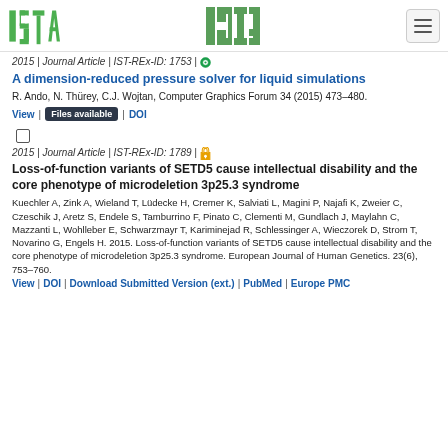ISTA logo and navigation
2015 | Journal Article | IST-REx-ID: 1753 |
A dimension-reduced pressure solver for liquid simulations
R. Ando, N. Thürey, C.J. Wojtan, Computer Graphics Forum 34 (2015) 473–480.
View | Files available | DOI
2015 | Journal Article | IST-REx-ID: 1789 |
Loss-of-function variants of SETD5 cause intellectual disability and the core phenotype of microdeletion 3p25.3 syndrome
Kuechler A, Zink A, Wieland T, Lüdecke H, Cremer K, Salviati L, Magini P, Najafi K, Zweier C, Czeschik J, Aretz S, Endele S, Tamburrino F, Pinato C, Clementi M, Gundlach J, Maylahn C, Mazzanti L, Wohlleber E, Schwarzmayr T, Kariminejad R, Schlessinger A, Wieczorek D, Strom T, Novarino G, Engels H. 2015. Loss-of-function variants of SETD5 cause intellectual disability and the core phenotype of microdeletion 3p25.3 syndrome. European Journal of Human Genetics. 23(6), 753–760.
View | DOI | Download Submitted Version (ext.) | PubMed | Europe PMC